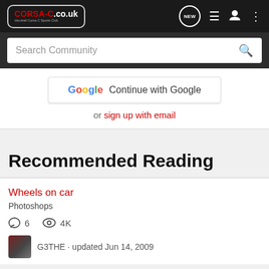CORSA-C.co.uk - Vauxhall Corsa C Sports Club
Search Community
Continue with Google
or sign up with email
Recommended Reading
Wheels on car
Photoshops
6  4K
G3THE · updated Jun 14, 2009